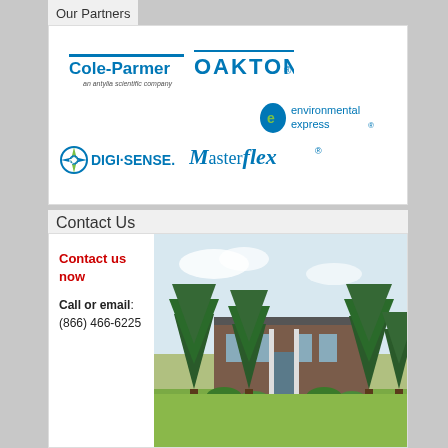Our Partners
[Figure (logo): Partner logos: Cole-Parmer (an antylia scientific company), OAKTON, environmental express, DIGI-SENSE, MasterFlex]
Contact Us
Contact us now
Call or email:
(866) 466-6225
[Figure (photo): Photo of a brick office building surrounded by evergreen trees with a green lawn in the foreground]